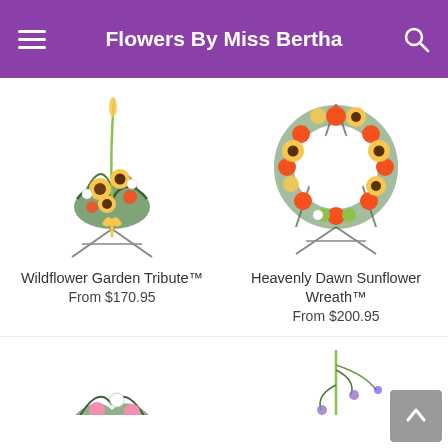Flowers By Miss Bertha
[Figure (photo): Wildflower garden tribute floral spray arrangement on an easel with sunflowers, greenery, and yellow bow]
Wildflower Garden Tribute™
From $170.95
[Figure (photo): Heavenly Dawn Sunflower Wreath on easel with sunflowers, orange gerberas, and green flowers]
Heavenly Dawn Sunflower Wreath™
From $200.95
[Figure (photo): Partial view of a floral arrangement with pink and white flowers with greenery]
[Figure (photo): Partial view of a tall floral arrangement with greenery and small flowers]